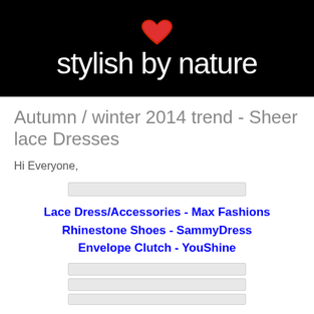[Figure (logo): Black banner with red heart icon above the text 'stylish by nature' in white lowercase letters]
Autumn / winter 2014 trend - Sheer lace Dresses
Hi Everyone,
[Figure (photo): Image placeholder (light gray bar)]
Lace Dress/Accessories - Max Fashions
Rhinestone Shoes - SammyDress
Envelope Clutch - YouShine